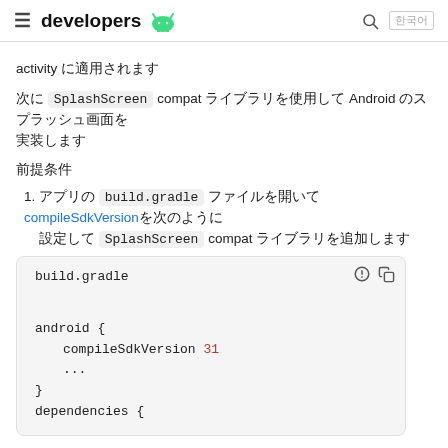≡ developers 🤖  🔍 한국어
activity に適用されます
次に SplashScreen compat ライブラリを使用して Android のスプラッシュ画面を実装します
前提条件
1. アプリの build.gradle ファイルを開いて compileSdkVersion を次のように設定して SplashScreen compat ライブラリを追加します
[Figure (screenshot): Code block showing build.gradle file with android { compileSdkVersion 31 ... } dependencies {]
build.gradle

android {
    compileSdkVersion 31
    ...
}
dependencies {